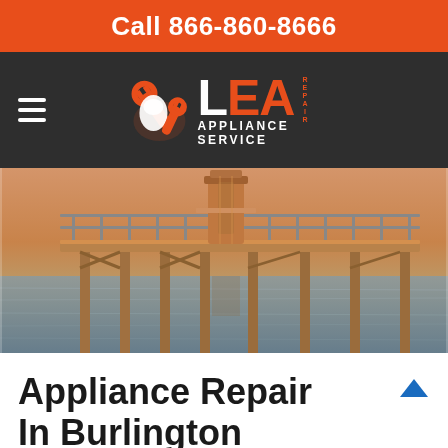Call 866-860-8666
[Figure (logo): LEA Appliance Service logo with wrench icon on dark background, hamburger menu on left]
[Figure (photo): Outdoor pier over water at sunset/golden hour, with metal railing walkway and cylindrical tower structure]
Appliance Repair In Burlington
Our professional appliance repair